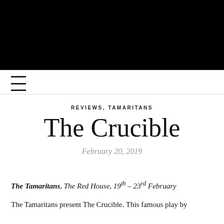[Figure (other): Black banner image at top of page]
[Figure (other): Hamburger menu icon (three horizontal lines)]
REVIEWS, TAMARITANS
The Crucible
February 20, 2019
The Tamaritans, The Red House, 19th – 23rd February
The Tamaritans present The Crucible. This famous play by